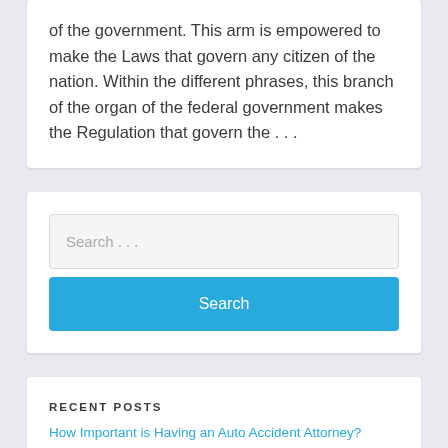of the government. This arm is empowered to make the Laws that govern any citizen of the nation. Within the different phrases, this branch of the organ of the federal government makes the Regulation that govern the …
Search …
Search
RECENT POSTS
How Important is Having an Auto Accident Attorney?